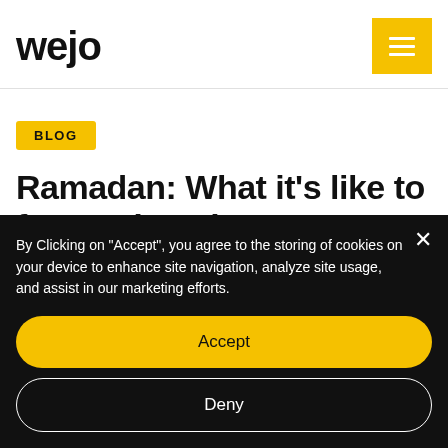wejo
BLOG
Ramadan: What it's like to fast and work
By Clicking on "Accept", you agree to the storing of cookies on your device to enhance site navigation, analyze site usage, and assist in our marketing efforts.
Accept
Deny